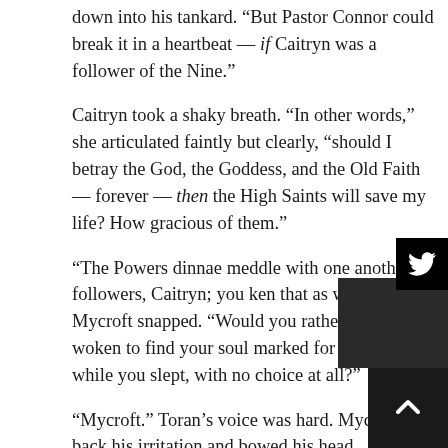down into his tankard. “But Pastor Connor could break it in a heartbeat — if Caitryn was a follower of the Nine.”
Caitryn took a shaky breath. “In other words,” she articulated faintly but clearly, “should I betray the God, the Goddess, and the Old Faith — forever — then the High Saints will save my life? How gracious of them.”
“The Powers dinnae meddle with one another’s followers, Caitryn; you ken that as well as I,” Mycroft snapped. “Would you rather you’d woken to find your soul marked for the Nine while you slept, with no choice at all?”
“Mycroft.” Toran’s voice was hard. Mycroft bit back his irritation and bowed his head.
Toran sighed and looked from Iaen to Gareth, gaze clear and level. “‘Tis a futile idea, any road. Even if baptism could take against the will, merely trying would be all the excuse Angus Kilbarron needed to claim bloodfeud. We cannae afford that now, not with a Calling of the Clans so cl
“And will he have less cause to rise against us, if she dies of